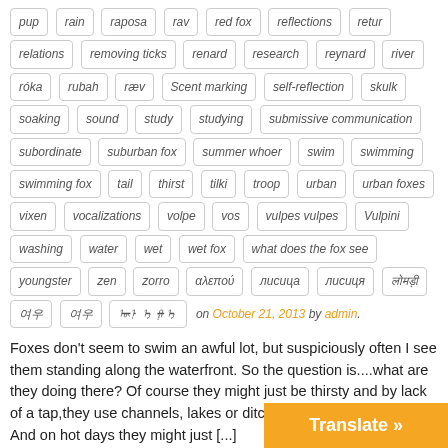pup, rain, raposa, rav, red fox, reflections, retur, relations, removing ticks, renard, research, reynard, river, róka, rubah, ræv, Scent marking, self-reflection, skulk, soaking, sound, study, studying, submissive communication, subordinate, suburban fox, summer whoer, swim, swimming, swimming fox, tail, thirst, tilki, troop, urban, urban foxes, vixen, vocalizations, volpe, vos, vulpes vulpes, Vulpini, washing, water, wet, wet fox, what does the fox see, youngster, zen, zorro, αλεπού, лисица, лисиця, [script tags]
on October 21, 2013 by admin.
Foxes don't seem to swim an awful lot, but suspiciously often I see them standing along the waterfront. So the question is....what are they doing there? Of course they might just be thirsty and by lack of a tap,they use channels, lakes or ditches to satisfy their needs. And on hot days they might just [...]
Share this:
Like this: